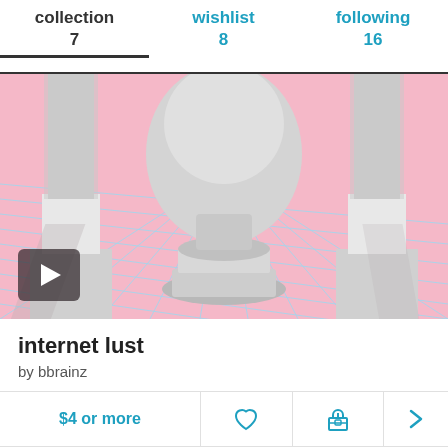collection 7  |  wishlist 8  |  following 16
[Figure (screenshot): Music album artwork for 'internet lust' by bbrainz. A vaporwave-aesthetic image showing classical Greek/Roman columns and a pedestal/urn on a pink grid floor background. A video play button overlay is visible in the bottom left.]
internet lust
by bbrainz
$4 or more
supported by
ethrealm